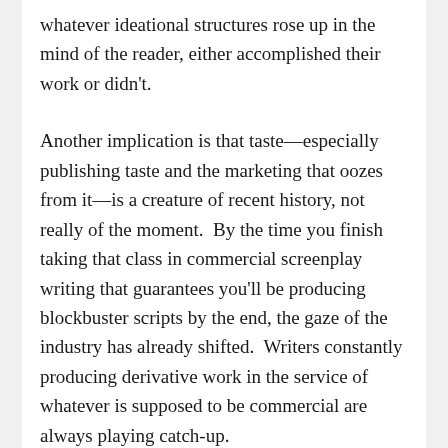whatever ideational structures rose up in the mind of the reader, either accomplished their work or didn't.
Another implication is that taste—especially publishing taste and the marketing that oozes from it—is a creature of recent history, not really of the moment.  By the time you finish taking that class in commercial screenplay writing that guarantees you'll be producing blockbuster scripts by the end, the gaze of the industry has already shifted.  Writers constantly producing derivative work in the service of whatever is supposed to be commercial are always playing catch-up.
The answer to this can be a bit scary: don't worry about it.  Flying blind is the only real way to fly.  It